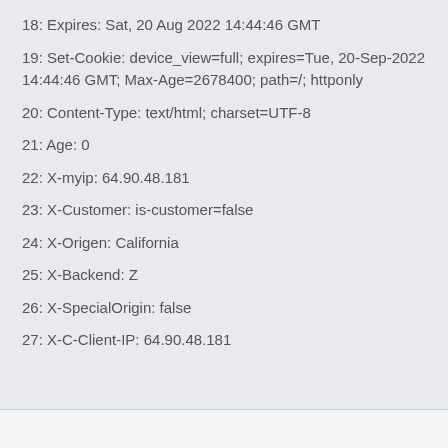18: Expires: Sat, 20 Aug 2022 14:44:46 GMT
19: Set-Cookie: device_view=full; expires=Tue, 20-Sep-2022 14:44:46 GMT; Max-Age=2678400; path=/; httponly
20: Content-Type: text/html; charset=UTF-8
21: Age: 0
22: X-myip: 64.90.48.181
23: X-Customer: is-customer=false
24: X-Origen: California
25: X-Backend: Z
26: X-SpecialOrigin: false
27: X-C-Client-IP: 64.90.48.181